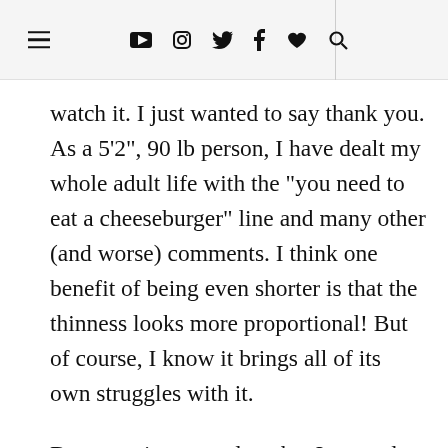Navigation header with hamburger menu and social icons
watch it. I just wanted to say thank you. As a 5'2", 90 lb person, I have dealt my whole adult life with the "you need to eat a cheeseburger" line and many other (and worse) comments. I think one benefit of being even shorter is that the thinness looks more proportional! But of course, I know it brings all of its own struggles with it.
But more importantly, what I wanted to tell you is that YOU